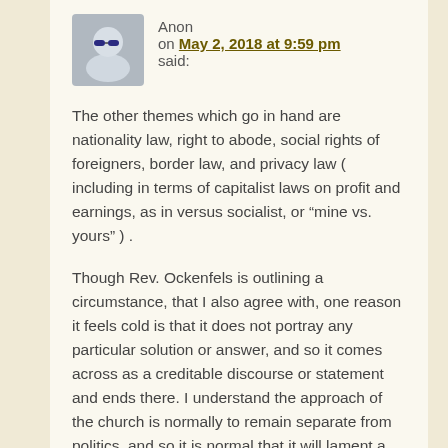Anon
on May 2, 2018 at 9:59 pm
said:
The other themes which go in hand are nationality law, right to abode, social rights of foreigners, border law, and privacy law ( including in terms of capitalist laws on profit and earnings, as in versus socialist, or “mine vs. yours” ) .
Though Rev. Ockenfels is outlining a circumstance, that I also agree with, one reason it feels cold is that it does not portray any particular solution or answer, and so it comes across as a creditable discourse or statement and ends there. I understand the approach of the church is normally to remain separate from politics, and so it is normal that it will lament a